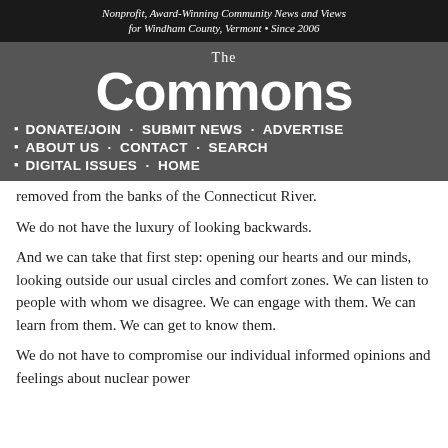Nonprofit, Award-Winning Community News and Views for Windham County, Vermont • Since 2006
[Figure (logo): The Commons newspaper logo — large bold sans-serif text reading 'The Commons' on dark grey background]
DONATE/JOIN · SUBMIT NEWS · ADVERTISE
ABOUT US · CONTACT · SEARCH
DIGITAL ISSUES · HOME
removed from the banks of the Connecticut River.
We do not have the luxury of looking backwards.
And we can take that first step: opening our hearts and our minds, looking outside our usual circles and comfort zones. We can listen to people with whom we disagree. We can engage with them. We can learn from them. We can get to know them.
We do not have to compromise our individual informed opinions and feelings about nuclear power